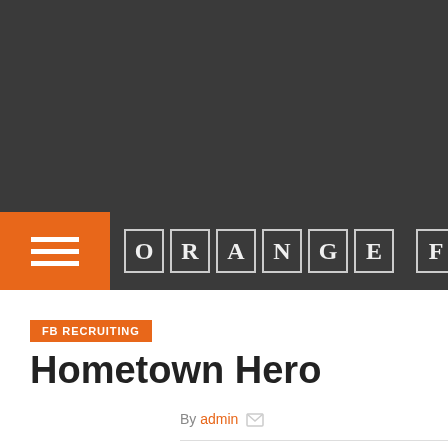ORANGE FIZZ
FB RECRUITING
Hometown Hero
By admin
Posted on July 29, 2009